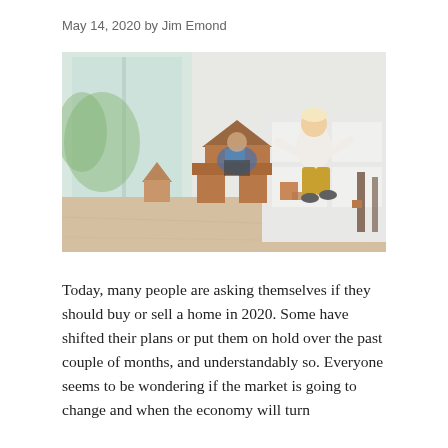May 14, 2020 by Jim Emond
[Figure (photo): Child running past wooden block houses built on a living room floor, with an adult sitting in the background near large windows.]
Today, many people are asking themselves if they should buy or sell a home in 2020. Some have shifted their plans or put them on hold over the past couple of months, and understandably so. Everyone seems to be wondering if the market is going to change and when the economy will turn